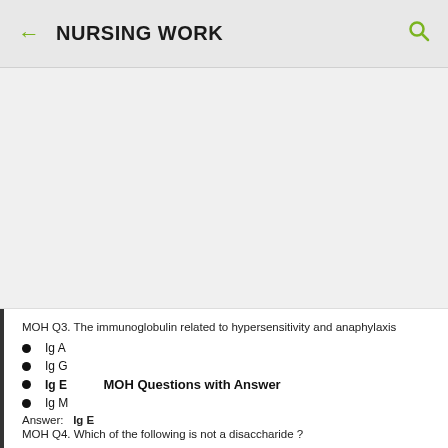NURSING WORK
MOH Q3. The immunoglobulin related to hypersensitivity and anaphylaxis
Ig A
Ig G
Ig E    MOH Questions with Answer
Ig M
Answer:  Ig E
MOH Q4. Which of the following is not a disaccharide ?